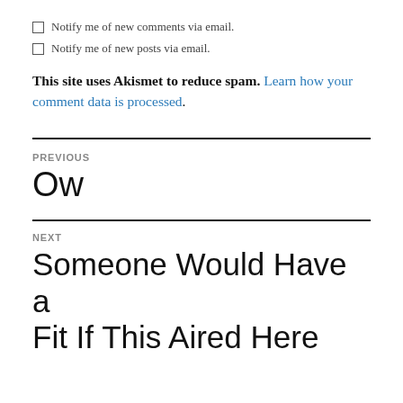Notify me of new comments via email.
Notify me of new posts via email.
This site uses Akismet to reduce spam. Learn how your comment data is processed.
PREVIOUS
Ow
NEXT
Someone Would Have a Fit If This Aired Here